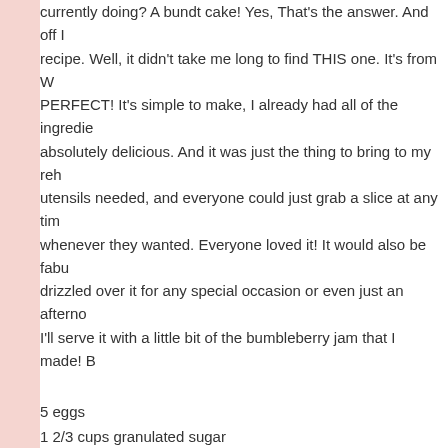currently doing? A bundt cake! Yes, That's the answer. And off I went to find a recipe. Well, it didn't take me long to find THIS one. It's from W... PERFECT! It's simple to make, I already had all of the ingredients, it was absolutely delicious. And it was just the thing to bring to my reh... No utensils needed, and everyone could just grab a slice at any time and eat whenever they wanted. Everyone loved it! It would also be fabu... drizzled over it for any special occasion or even just an afterno... I'll serve it with a little bit of the bumbleberry jam that I made! B...
5 eggs
1 2/3 cups granulated sugar
20 Tbs. (2 1/2 sticks) unsalted butter, at room temperature, cut into small pieces
2 Tbs. kirsch or other fruit liqueur
2 1/2 cups all-purpose flour
1 tsp. baking powder
Pinch of salt
3 1/2 cups raspberries (divided)
1 1/2 cups blueberries or blackberries
Confectioners' sugar for dusting (optional)